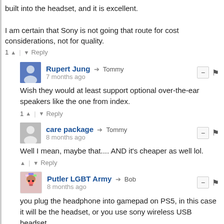built into the headset, and it is excellent.
I am certain that Sony is not going that route for cost considerations, not for quality.
1 ↑ | ↓ Reply
Rupert Jung → Tommy
7 months ago
Wish they would at least support optional over-the-ear speakers like the one from index.
1 ↑ | ↓ Reply
care package → Tommy
8 months ago
Well I mean, maybe that.... AND it's cheaper as well lol.
↑ | ↓ Reply
Putler LGBT Army → Bob
8 months ago
you plug the headphone into gamepad on PS5, in this case it will be the headset, or you use sony wireless USB headset